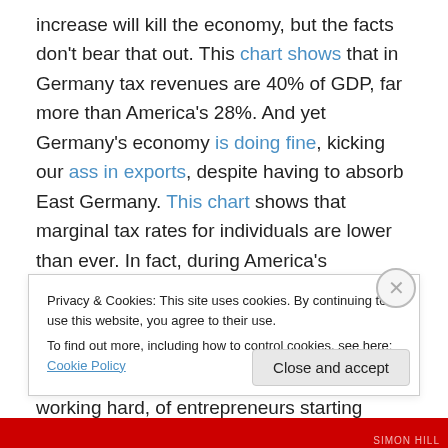increase will kill the economy, but the facts don't bear that out. This chart shows that in Germany tax revenues are 40% of GDP, far more than America's 28%. And yet Germany's economy is doing fine, kicking our ass in exports, despite having to absorb East Germany. This chart shows that marginal tax rates for individuals are lower than ever. In fact, during America's economic heyday, in the 50s and 60s, top marginal rates were in the 70%-90% range, far higher than today's 35%, and yet there was still plenty of investment, of people working hard, of entrepreneurs starting businesses. All the
Privacy & Cookies: This site uses cookies. By continuing to use this website, you agree to their use.
To find out more, including how to control cookies, see here: Cookie Policy
Close and accept